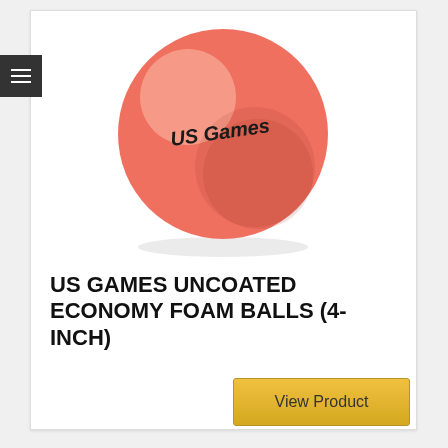[Figure (photo): A salmon/coral-colored foam ball with 'US Games' printed in black text on it, shown on a white background.]
US GAMES UNCOATED ECONOMY FOAM BALLS (4-INCH)
View Product